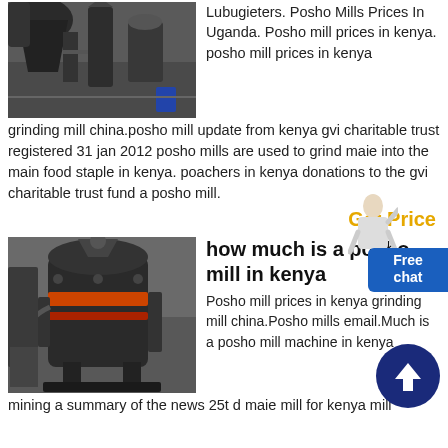[Figure (photo): Industrial grinding mill machine in a factory setting, dark metal equipment]
Lubugieters. Posho Mills Prices In Uganda. Posho mill prices in kenya. posho mill prices in kenya grinding mill china.posho mill update from kenya gvi charitable trust registered 31 jan 2012 posho mills are used to grind maie into the main food staple in kenya. poachers in kenya donations to the gvi charitable trust fund a posho mill.
Get Price
[Figure (photo): Large industrial posho mill machine, cylindrical dark metal grinder in a warehouse]
how much is a posho mill in kenya
Posho mill prices in kenya grinding mill china.Posho mills email.Much is a posho mill machine in kenya mining a summary of the news 25t d maie mill for kenya mill